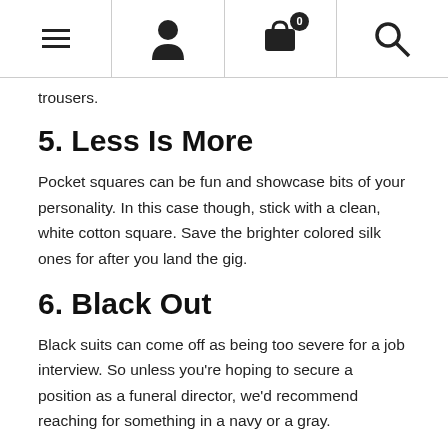[Navigation bar with menu, user, cart (0), search icons]
trousers.
5. Less Is More
Pocket squares can be fun and showcase bits of your personality. In this case though, stick with a clean, white cotton square. Save the brighter colored silk ones for after you land the gig.
6. Black Out
Black suits can come off as being too severe for a job interview. So unless you're hoping to secure a position as a funeral director, we'd recommend reaching for something in a navy or a gray.
7. Shoe Game